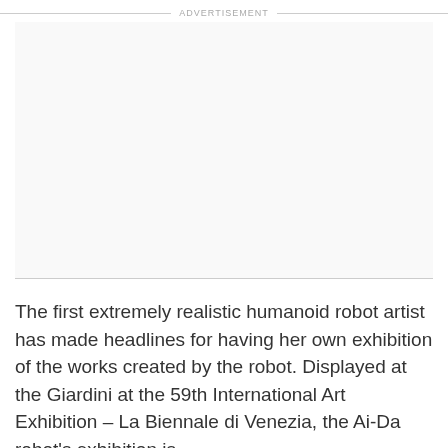ADVERTISEMENT
[Figure (other): Advertisement placeholder box — blank white/light gray space]
The first extremely realistic humanoid robot artist has made headlines for having her own exhibition of the works created by the robot. Displayed at the Giardini at the 59th International Art Exhibition – La Biennale di Venezia, the Ai-Da robot's exhibition is